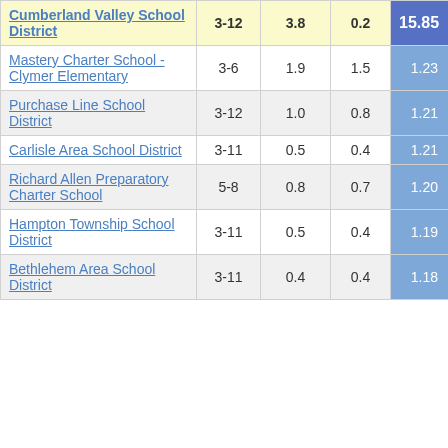| School/District | Grades | Col3 | Col4 | Score |
| --- | --- | --- | --- | --- |
| Cumberland Valley School District | 3-12 | 3.8 | 0.2 | 15.85 |
| Mastery Charter School - Clymer Elementary | 3-6 | 1.9 | 1.5 | 1.23 |
| Purchase Line School District | 3-12 | 1.0 | 0.8 | 1.21 |
| Carlisle Area School District | 3-11 | 0.5 | 0.4 | 1.21 |
| Richard Allen Preparatory Charter School | 5-8 | 0.8 | 0.7 | 1.20 |
| Hampton Township School District | 3-11 | 0.5 | 0.4 | 1.19 |
| Bethlehem Area School District | 3-11 | 0.4 | 0.4 | 1.18 |